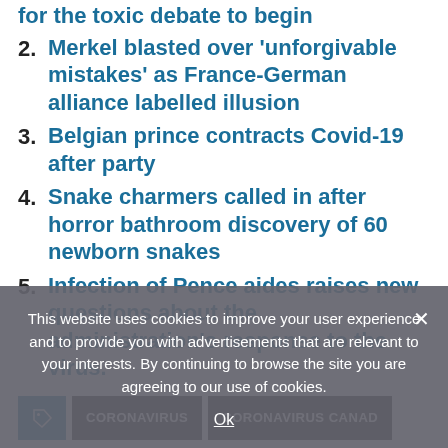for the toxic debate to begin
2. Merkel blasted over 'unforgivable mistakes' as France-German alliance labelled illusion
3. Belgian prince contracts Covid-19 after party
4. Snake charmers called in after horror bathroom discovery of 60 newborn snakes
5. Infection of Pence aides raises new questions about the administration's response to the virus.
CORONAVIRUS | CORONAVIRUS CANAD
« PREVIOUS
This website uses cookies to improve your user experience and to provide you with advertisements that are relevant to your interests. By continuing to browse the site you are agreeing to our use of cookies.
Ok